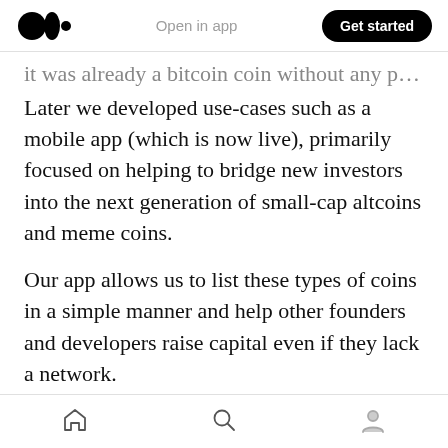Open in app | Get started
it was already a bitcoin coin without any purpose.
Later we developed use-cases such as a mobile app (which is now live), primarily focused on helping to bridge new investors into the next generation of small-cap altcoins and meme coins.
Our app allows us to list these types of coins in a simple manner and help other founders and developers raise capital even if they lack a network.
Q: What does your partnership with famous athletes mean? How do you relate to the
Home | Search | Profile